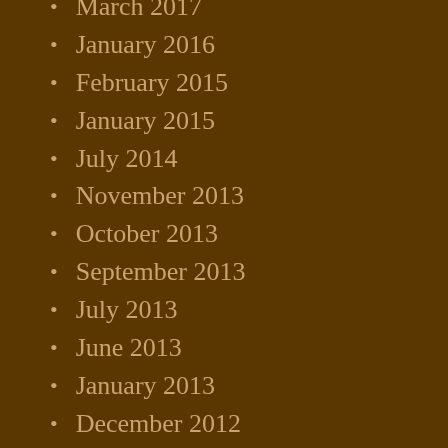March 2017
January 2016
February 2015
January 2015
July 2014
November 2013
October 2013
September 2013
July 2013
June 2013
January 2013
December 2012
November 2012
October 2012
September 2012
August 2012
July 2012